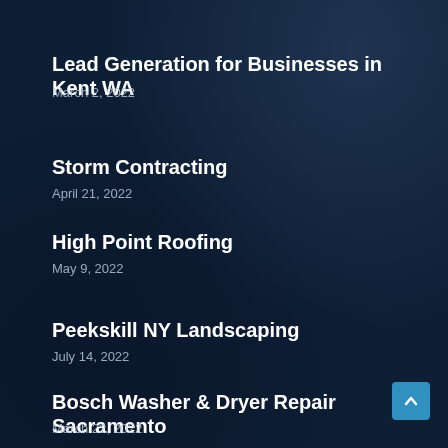Lead Generation for Businesses in Kent WA
March 2, 2022
Storm Contracting
April 21, 2022
High Point Roofing
May 9, 2022
Peekskill NY Landscaping
July 14, 2022
Bosch Washer & Dryer Repair Sacramento
March 22, 2022